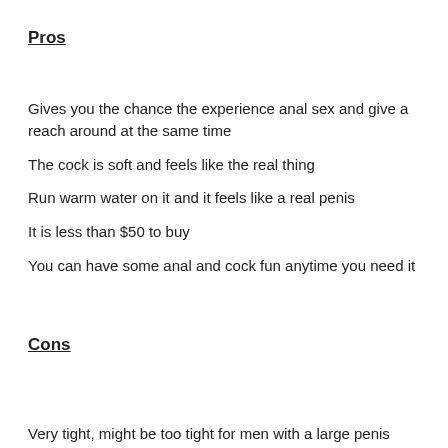Pros
Gives you the chance the experience anal sex and give a reach around at the same time
The cock is soft and feels like the real thing
Run warm water on it and it feels like a real penis
It is less than $50 to buy
You can have some anal and cock fun anytime you need it
Cons
Very tight, might be too tight for men with a large penis